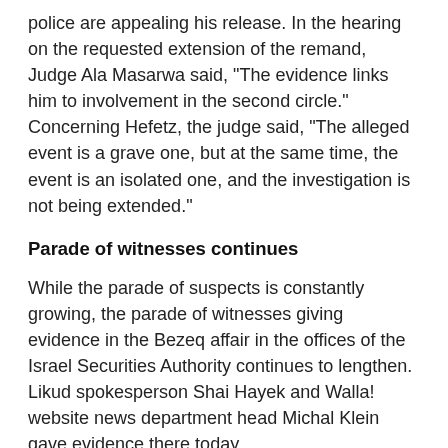police are appealing his release. In the hearing on the requested extension of the remand, Judge Ala Masarwa said, "The evidence links him to involvement in the second circle." Concerning Hefetz, the judge said, "The alleged event is a grave one, but at the same time, the event is an isolated one, and the investigation is not being extended."
Parade of witnesses continues
While the parade of suspects is constantly growing, the parade of witnesses giving evidence in the Bezeq affair in the offices of the Israel Securities Authority continues to lengthen. Likud spokesperson Shai Hayek and Walla! website news department head Michal Klein gave evidence there today.
Published by Globes [online], Israel Business News - www.globes-online.com - on February 20, 2018